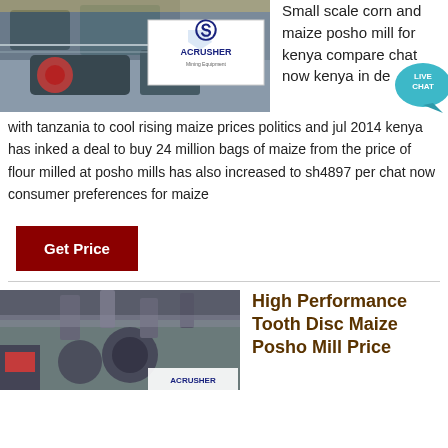[Figure (photo): Industrial mining/crushing machine with ACrusher Mining Equipment logo overlay]
Small scale corn and maize posho mill for kenya compare chat now kenya in deal with tanzania to cool rising maize prices politics and jul 2014 kenya has inked a deal to buy 24 million bags of maize from the price of flour milled at posho mills has also increased to sh4897 per chat now consumer preferences for maize
Get Price
[Figure (photo): Industrial maize posho mill machinery with ductwork and equipment]
High Performance Tooth Disc Maize Posho Mill Price